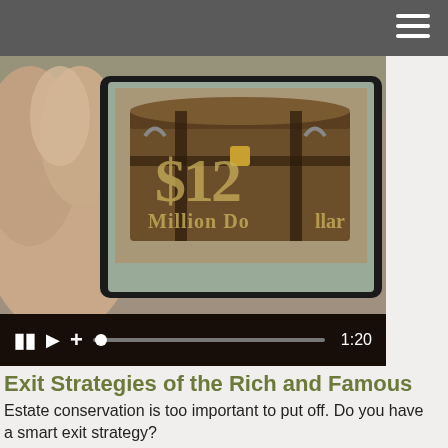[Figure (screenshot): Video player showing a hand holding a tablet. The tablet screen displays a wooden treasure chest labeled '$12 Million Dollar'. Video controls at bottom show pause, play, plus icons, a progress bar, and timestamp 1:20.]
Exit Strategies of the Rich and Famous
Estate conservation is too important to put off. Do you have a smart exit strategy?